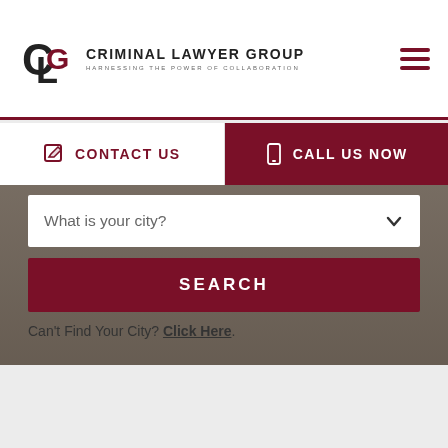[Figure (logo): Criminal Lawyer Group logo with CLG monogram and tagline 'Harnessing the Power of Collaboration']
CONTACT US
CALL US NOW
What is your city?
SEARCH
Can't Find Your City? Click Here.